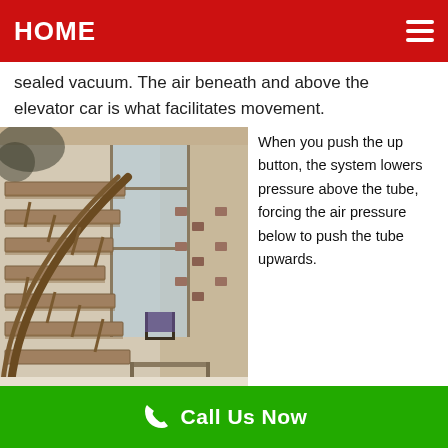HOME
sealed vacuum. The air beneath and above the elevator car is what facilitates movement.
[Figure (photo): Interior photo of a modern multi-story home with a curved wooden spiral staircase, metal railings, glass walls, and warm lighting. A chair and bench are visible in the background.]
When you push the up button, the system lowers pressure above the tube, forcing the air pressure below to push the tube upwards.
Call Us Now